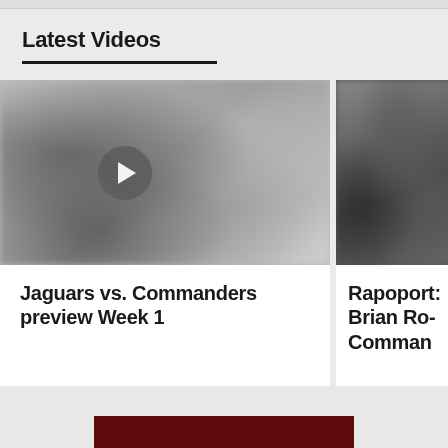Latest Videos
[Figure (screenshot): Blurry grayscale video thumbnail with play button overlay showing sports/game footage]
Jaguars vs. Commanders preview Week 1
[Figure (screenshot): Blurry dark grayscale video thumbnail (partially visible, cropped on right)]
Rapoport: Brian Rob... Comman...